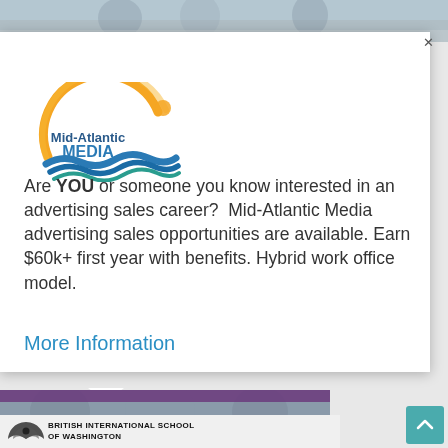[Figure (photo): Top strip showing people at a beach/outdoor scene]
[Figure (logo): Mid-Atlantic Media logo with orange arc, blue waves, and text 'Mid-Atlantic MEDIA']
Are YOU or someone you know interested in an advertising sales career?  Mid-Atlantic Media advertising sales opportunities are available. Earn $60k+ first year with benefits. Hybrid work office model.
More Information
[Figure (photo): Bottom strip showing people outdoors with purple bar overlay]
[Figure (logo): British International School of Washington logo with decorative emblem]